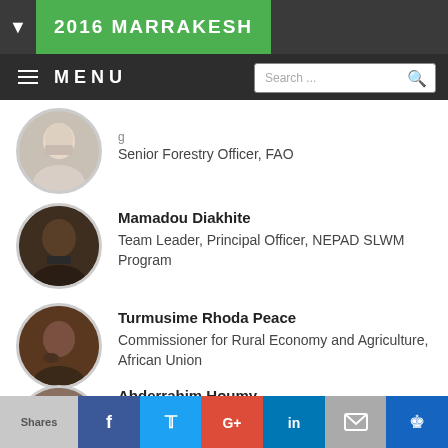2016 MARRAKESH
MENU
Senior Forestry Officer, FAO
Mamadou Diakhite
Team Leader, Principal Officer, NEPAD SLWM Program
Turmusime Rhoda Peace
Commissioner for Rural Economy and Agriculture, African Union
Abderrahim Houmy
Secretaire General Haut-Commissariat aux Eaux et Forêts, Morocco
Shares | f | t | G+ | in | mail | crown